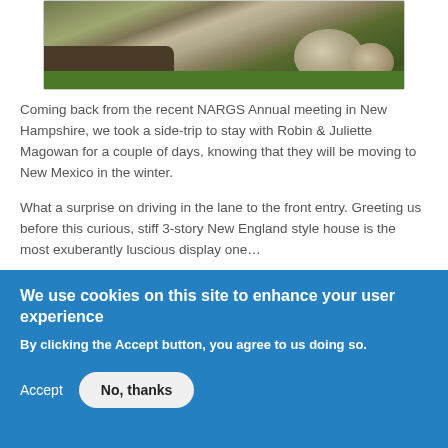[Figure (photo): Partial view of a garden scene with rocks, mulch, and grass]
Coming back from the recent NARGS Annual meeting in New Hampshire, we took a side-trip to stay with Robin & Juliette Magowan for a couple of days, knowing that they will be moving to New Mexico in the winter.
What a surprise on driving in the lane to the front entry. Greeting us before this curious, stiff 3-story New England style house is the most exuberantly luscious display one…
Read Entire Post
We use cookies on this site to enhance your user experience
By clicking the Accept button, you agree to us doing so.
Accept    No, thanks